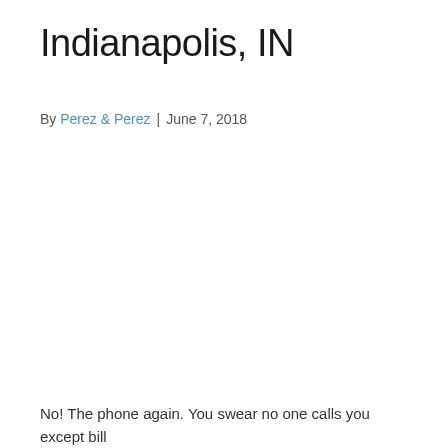Indianapolis, IN
By Perez & Perez | June 7, 2018
No! The phone again. You swear no one calls you except bill